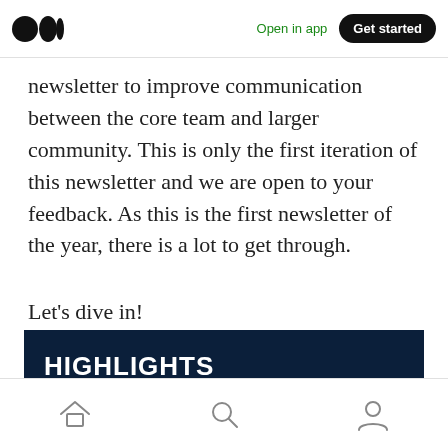Medium — Open in app | Get started
newsletter to improve communication between the core team and larger community. This is only the first iteration of this newsletter and we are open to your feedback. As this is the first newsletter of the year, there is a lot to get through.
Let's dive in!
HIGHLIGHTS
Home | Search | Profile